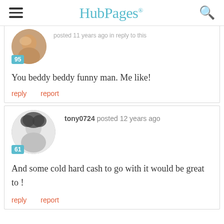HubPages
posted 11 years ago in reply to this
[Figure (photo): Circular avatar photo of a woman with blonde hair, score badge 95]
You beddy beddy funny man. Me like!
reply   report
tony0724 posted 12 years ago
[Figure (photo): Circular black and white avatar photo of a man with an afro, score badge 61]
And some cold hard cash to go with it would be great to !
reply   report